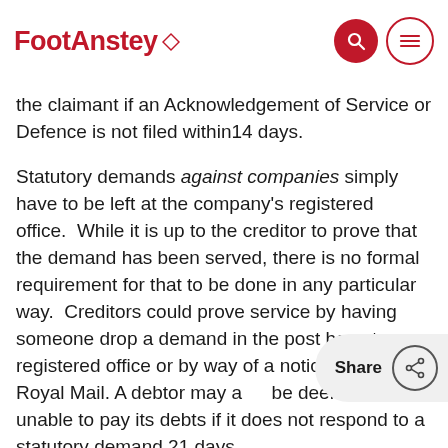FootAnstey
the claimant if an Acknowledgement of Service or Defence is not filed within14 days.
Statutory demands against companies simply have to be left at the company's registered office.  While it is up to the creditor to prove that the demand has been served, there is no formal requirement for that to be done in any particular way.  Creditors could prove service by having someone drop a demand in the post box at a registered office or by way of a notice from the Royal Mail. A debtor may also be deemed to be unable to pay its debts if it does not respond to a statutory demand 21 days